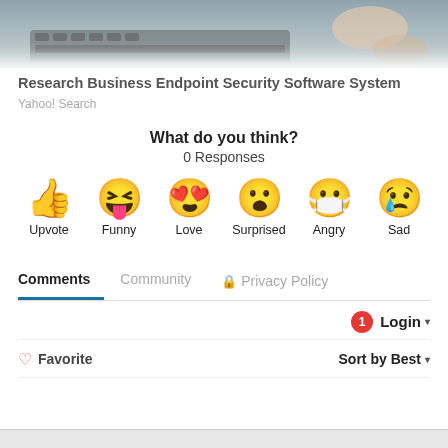[Figure (photo): Partial screenshot showing a person's hands typing on a laptop keyboard, cropped at the top]
Research Business Endpoint Security Software System
Yahoo! Search
What do you think?
0 Responses
[Figure (infographic): Row of six reaction emojis: thumbs up (Upvote), laughing face (Funny), heart-eyes face (Love), surprised face (Surprised), sick/angry face with mask (Angry), crying face (Sad)]
Comments  Community  🔒 Privacy Policy
1  Login ▾
♡ Favorite  Sort by Best ▾